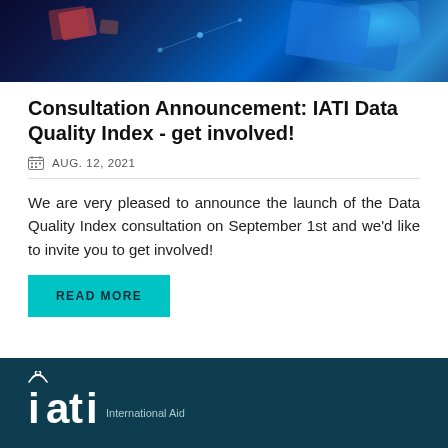[Figure (photo): Dark blue technology hero image with glowing geometric shapes and digital network elements]
Consultation Announcement: IATI Data Quality Index - get involved!
AUG. 12, 2021
We are very pleased to announce the launch of the Data Quality Index consultation on September 1st and we'd like to invite you to get involved!
READ MORE
[Figure (logo): IATI - International Aid logo in white on dark teal footer background]